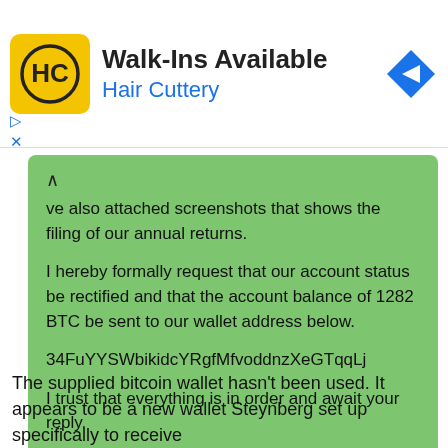[Figure (screenshot): Hair Cuttery advertisement banner with yellow logo icon, text 'Walk-Ins Available' and 'Hair Cuttery' in blue, and a blue diamond navigation icon on the right.]
ve also attached screenshots that shows the filing of our annual returns.

I hereby formally request that our account status be rectified and that the account balance of 1282 BTC be sent to our wallet address below.

34FuYYSWbikidcYRgfMfvoddnzXeGTqqLj

I trust that everything is in order and await your reply.

Kind regards,

CJ Steynberg
The supplied bitcoin wallet hasn't been used. It appears to be a new wallet Steynberg set up specifically to receive